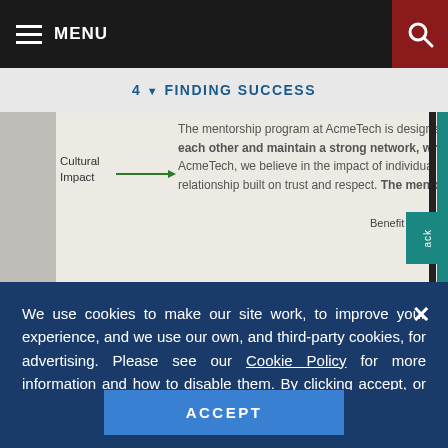MENU
4 FINDING SUCCESS
Cultural Impact — The mentorship program at AcmeTech is designed to encourage branch managers to learn from each other and maintain a strong network, which is central to our culture of learning. At AcmeTech, we believe in the impact of individual mentees learning from mentors in a one-on-one relationship built on trust and respect. The mentorship program
We use cookies to make our site work, to improve your experience, and we use our own, and third-party cookies, for advertising. Please see our Cookie Policy for more information and how to disable them. By clicking accept, or closing the message and continuing to use this site, you agree to our use of cookies.
ACCEPT